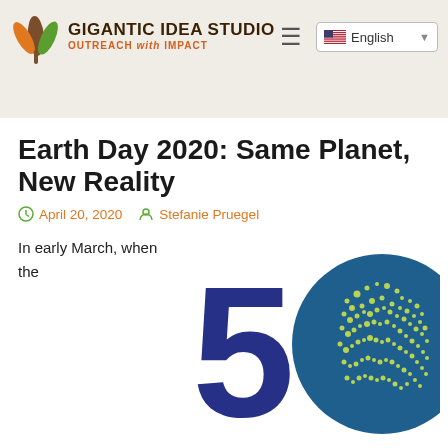Gigantic Idea Studio — OUTREACH with IMPACT
Earth Day 2020: Same Planet, New Reality
April 20, 2020   Stefanie Pruegel
In early March, when the
[Figure (illustration): Earth Day 50 Years logo — large navy blue '50' where the zero is replaced by a globe showing continents dotted with yellow-green lights, with 'YEARS' in large navy text below]